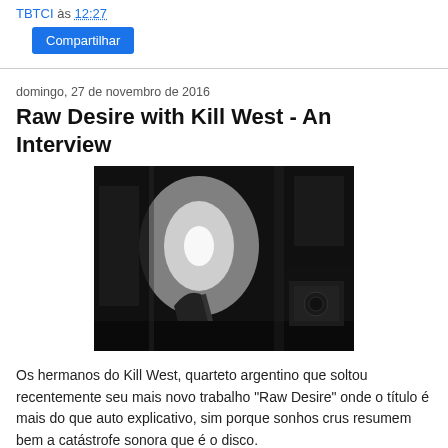TBTCI às 12:27
Compartilhar
domingo, 27 de novembro de 2016
Raw Desire with Kill West - An Interview
[Figure (photo): Black and white photograph of a band/musician performing, dark moody stage scene with guitar visible]
Os hermanos do Kill West, quarteto argentino que soltou recentemente seu mais novo trabalho "Raw Desire" onde o título é mais do que auto explicativo, sim porque sonhos crus resumem bem a catástrofe sonora que é o disco.